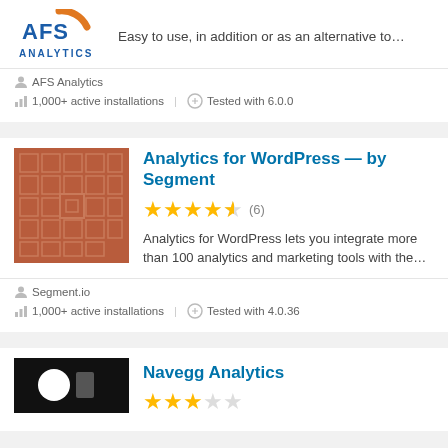[Figure (logo): AFS Analytics logo with orange arc and blue text]
Easy to use, in addition or as an alternative to…
AFS Analytics
1,000+ active installations   Tested with 6.0.0
[Figure (illustration): Reddish-brown square with decorative tile pattern]
Analytics for WordPress — by Segment
4.5 stars (6)
Analytics for WordPress lets you integrate more than 100 analytics and marketing tools with the…
Segment.io
1,000+ active installations   Tested with 4.0.36
[Figure (logo): Black background with white logo mark]
Navegg Analytics